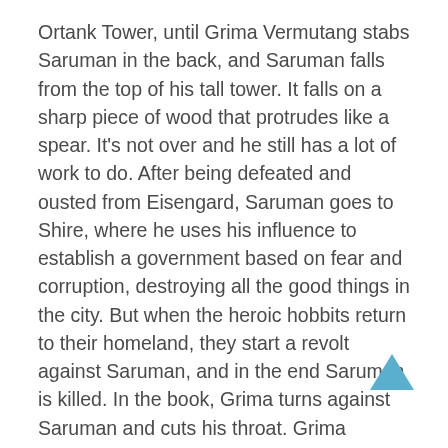Ortank Tower, until Grima Vermutang stabs Saruman in the back, and Saruman falls from the top of his tall tower. It falls on a sharp piece of wood that protrudes like a spear. It's not over and he still has a lot of work to do. After being defeated and ousted from Eisengard, Saruman goes to Shire, where he uses his influence to establish a government based on fear and corruption, destroying all the good things in the city. But when the heroic hobbits return to their homeland, they start a revolt against Saruman, and in the end Saruman is killed. In the book, Grima turns against Saruman and cuts his throat. Grima himself is killed by archers while escaping. This chapter of the book does not appear in the third film of the Lord of the Rings. In the book we read:
"A gray haze formed around Saruman's body, and it